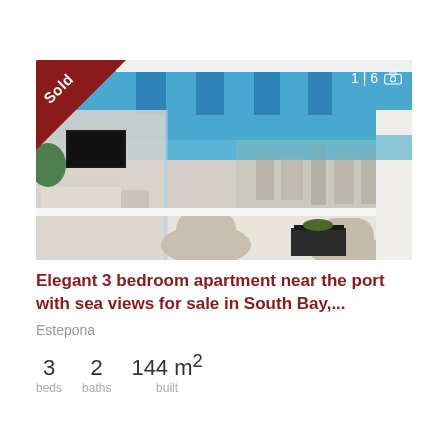[Figure (photo): Luxury apartment terrace with modern furniture, ocean and city views, featuring a retractable blue-striped awning. Interior living room visible through glass walls. 'Sold' ribbon in top-left corner, photo counter '1|6' in top-right.]
Elegant 3 bedroom apartment near the port with sea views for sale in South Bay,...
Estepona
3 beds   2 baths   144 m² built